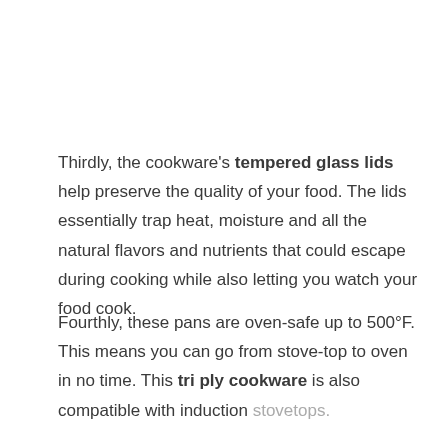Thirdly, the cookware's tempered glass lids help preserve the quality of your food. The lids essentially trap heat, moisture and all the natural flavors and nutrients that could escape during cooking while also letting you watch your food cook.
Fourthly, these pans are oven-safe up to 500°F. This means you can go from stove-top to oven in no time. This tri ply cookware is also compatible with induction stovetops.